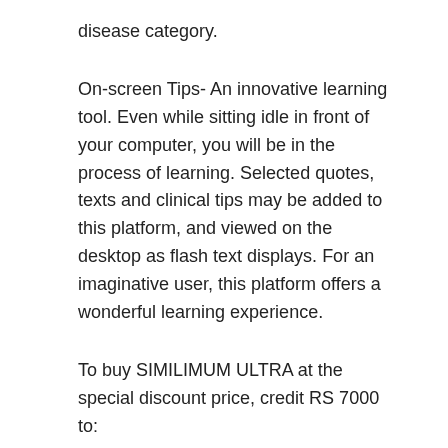disease category.
On-screen Tips- An innovative learning tool. Even while sitting idle in front of your computer, you will be in the process of learning. Selected quotes, texts and clinical tips may be added to this platform, and viewed on the desktop as flash text displays. For an imaginative user, this platform offers a wonderful learning experience.
To buy SIMILIMUM ULTRA at the special discount price, credit RS 7000 to:
Bank Name: Federal Bank Limited
Branch: Sreekandapuram